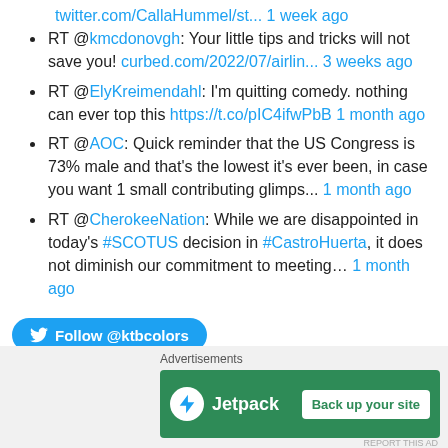twitter.com/CallaHummel/st... 1 week ago
RT @kmcdonovgh: Your little tips and tricks will not save you! curbed.com/2022/07/airlin... 3 weeks ago
RT @ElyKreimendahl: I'm quitting comedy. nothing can ever top this https://t.co/pIC4ifwPbB 1 month ago
RT @AOC: Quick reminder that the US Congress is 73% male and that's the lowest it's ever been, in case you want 1 small contributing glimps... 1 month ago
RT @CherokeeNation: While we are disappointed in today's #SCOTUS decision in #CastroHuerta, it does not diminish our commitment to meeting... 1 month ago
Follow @ktbcolors
Advertisements
[Figure (other): Jetpack advertisement banner with 'Back up your site' button]